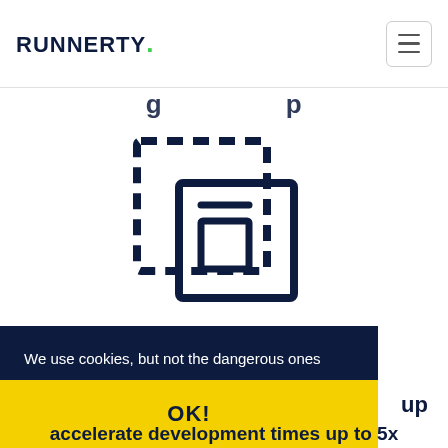RUNNERTY.
[Figure (illustration): Dashed-border copy/duplicate icon in dark navy blue, showing a document being duplicated with a dashed selection rectangle overlay]
We use cookies, but not the dangerous ones
Learn more
OK!
accelerate development times up to 5x